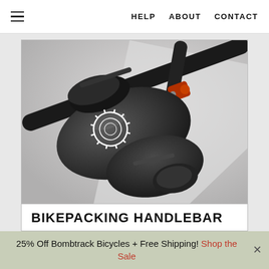HELP   ABOUT   CONTACT
[Figure (photo): Close-up photo of a black bikepacking handlebar bag mounted on a bicycle handlebar. The bag appears to be a waterproof dry bag with a roll-top closure and a white chainring/gear logo on the side. Another smaller black bag is visible underneath.]
BIKEPACKING HANDLEBAR
25% Off Bombtrack Bicycles + Free Shipping! Shop the Sale